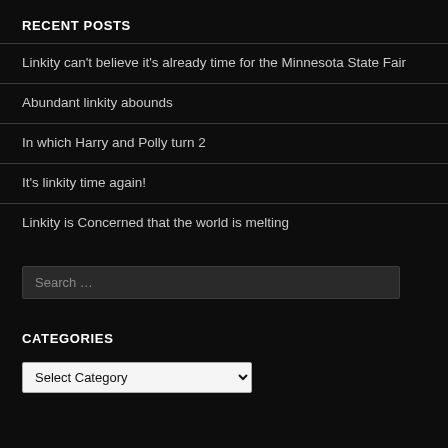RECENT POSTS
Linkity can't believe it's already time for the Minnesota State Fair
Abundant linkity abounds
In which Harry and Polly turn 2
It's linkity time again!
Linkity is Concerned that the world is melting
Search ...
CATEGORIES
Select Category